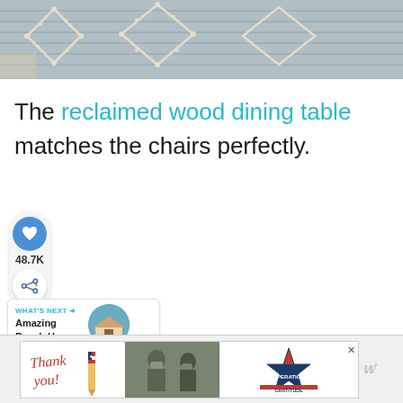[Figure (photo): Close-up photo of a woven rug with geometric diamond patterns in cream/beige on a grey/blue background, placed on a tiled floor.]
The reclaimed wood dining table matches the chairs perfectly.
[Figure (infographic): Social interaction UI: heart/like button (blue circle with heart icon), like count 48.7K, share button (circle with share icon).]
48.7K
[Figure (infographic): What's Next panel: label 'WHAT'S NEXT →', title 'Amazing Beach Hous...', with a circular thumbnail of a beach house.]
[Figure (photo): Advertisement banner: Thank you text with US flag pencil, military personnel photo, Operation Gratitude logo with star and flag design.]